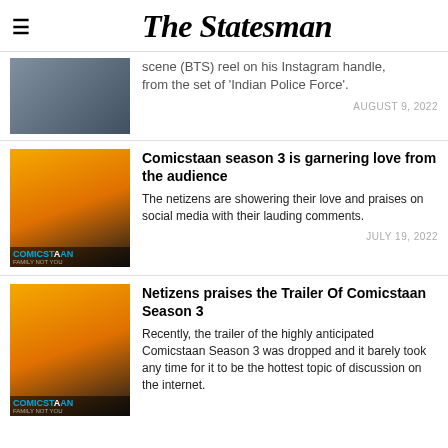The Statesman
scene (BTS) reel on his Instagram handle, from the set of 'Indian Police Force'.
AUGUST 9, 2022
Comicstaan season 3 is garnering love from the audience
The netizens are showering their love and praises on social media with their lauding comments.
JULY 19, 2022
Netizens praises the Trailer Of Comicstaan Season 3
Recently, the trailer of the highly anticipated Comicstaan Season 3 was dropped and it barely took any time for it to be the hottest topic of discussion on the internet.